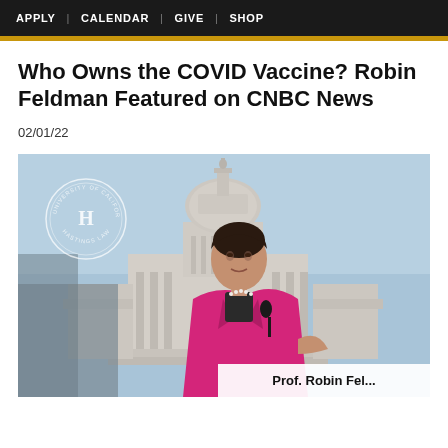APPLY | CALENDAR | GIVE | SHOP
Who Owns the COVID Vaccine? Robin Feldman Featured on CNBC News
02/01/22
[Figure (photo): Robin Feldman speaking at a podium in front of the U.S. Capitol building, wearing a pink blazer and pearl necklace, with the UC Hastings Law seal visible in the upper left corner. A lower-third graphic partially visible at the bottom reads 'Prof. Robin Fel...']